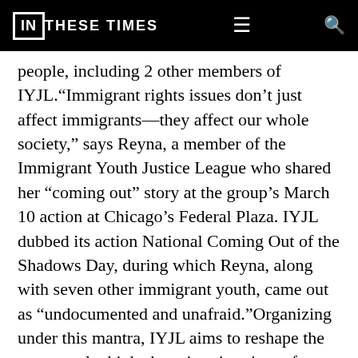IN THESE TIMES
people, including 2 other members of IYJL.“Immigrant rights issues don’t just affect immigrants—they affect our whole society,” says Reyna, a member of the Immigrant Youth Justice League who shared her “coming out” story at the group’s March 10 action at Chicago’s Federal Plaza. IYJL dubbed its action National Coming Out of the Shadows Day, during which Reyna, along with seven other immigrant youth, came out as “undocumented and unafraid.”Organizing under this mantra, IYJL aims to reshape the way people think about immigration reform. As IYJL member Ireri points out, although there has been “fight after fight” in the struggle for immigration reform, we have yet to see immigration legislation that has arrived…